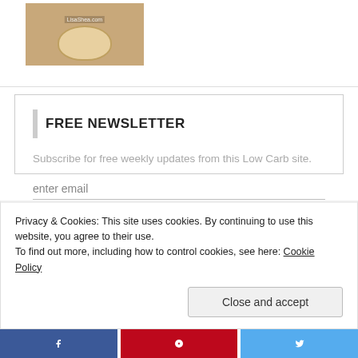[Figure (photo): Food photo with watermark LisaShea.com, showing a dish on a wooden surface]
FREE NEWSLETTER
Subscribe for free weekly updates from this Low Carb site.
enter email
Submit
Past Issues
Privacy & Cookies: This site uses cookies. By continuing to use this website, you agree to their use.
To find out more, including how to control cookies, see here: Cookie Policy
Close and accept